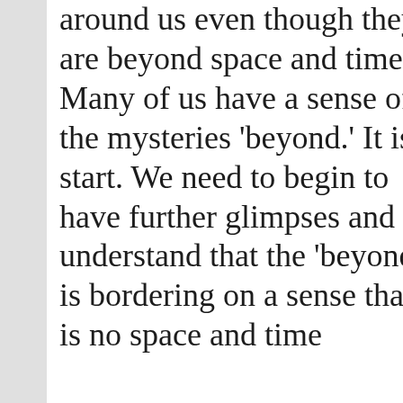around us even though they are beyond space and time. Many of us have a sense of the mysteries 'beyond.' It is a start. We need to begin to have further glimpses and understand that the 'beyond' is bordering on a sense that is no space and time